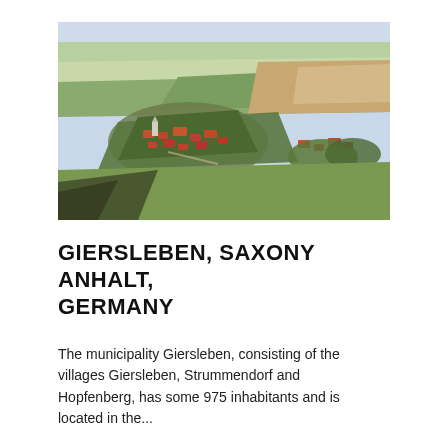[Figure (photo): Aerial photograph of Giersleben, Saxony-Anhalt, Germany, showing the village surrounded by agricultural fields and green trees, with red-roofed buildings visible.]
GIERSLEBEN, SAXONY ANHALT, GERMANY
The municipality Giersleben, consisting of the villages Giersleben, Strummendorf and Hopfenberg, has some 975 inhabitants and is located in the...